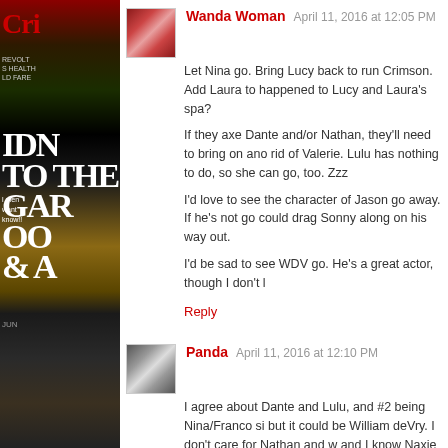[Figure (photo): Magazine sidebar showing partial cover with red title letters, book/magazine covers in background]
Wanda Woman  April 11, 2016 at 12:05 PM
Let Nina go. Bring Lucy back to run Crimson. Add Laura to happened to Lucy and Laura's spa?
If they axe Dante and/or Nathan, they'll need to bring on ano rid of Valerie. Lulu has nothing to do, so she can go, too. Zzz
I'd love to see the character of Jason go away. If he's not go could drag Sonny along on his way out.
I'd be sad to see WDV go. He's a great actor, though I don't l
Reply
Panda  April 11, 2016 at 12:10 PM
I agree about Dante and Lulu, and #2 being Nina/Franco si but it could be William deVry. I don't care for Nathan and w and I know Naxie has a devoted following but I think a much JMO. I do think Nathan may not be long for the show, as the
Reply
Di  April 11, 2016 at 12:39 PM